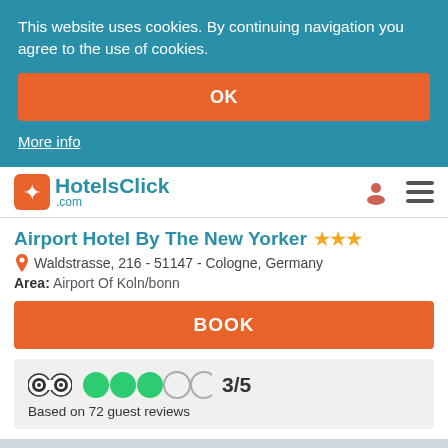This website uses cookies. By continuing navigation you agree to the use of cookies.
OK
More info
[Figure (logo): HotelsClick.com logo with orange bird icon]
Airport Hotel By The New Yorker ★★★
Waldstrasse, 216 - 51147 - Cologne, Germany
Area: Airport Of Koln/bonn
BOOK
3/5
Based on 72 guest reviews
[Figure (map): Map area showing hotel location, partially visible]